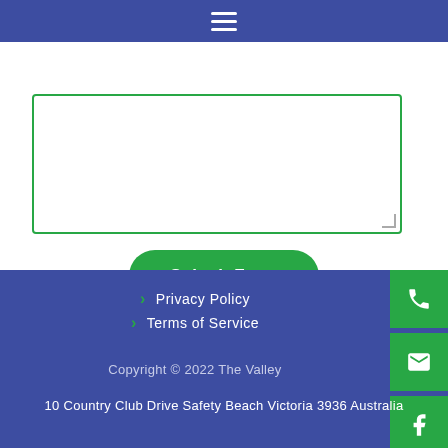Navigation menu
[Figure (screenshot): Form textarea input box with green border]
Submit Form
Privacy Policy
Terms of Service
Copyright © 2022 The Valley
10 Country Club Drive Safety Beach Victoria 3936 Australia